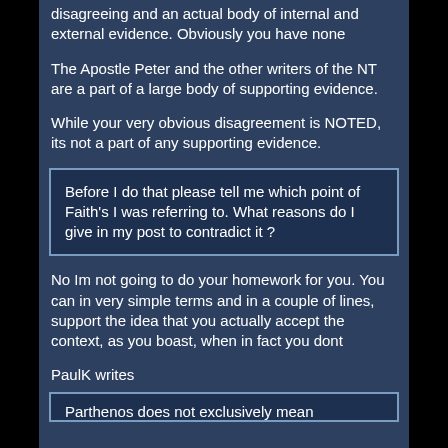disagreeing and an actual body of internal and external evidence. Obviously you have none
The Apostle Peter and the other writers of the NT are a part of a large body of supporting evidence.
While your very obvious disagreement is NOTED, its not a part of any supporting evidence.
Before I do that please tell me which point of Faith's I was referring to. What reasons do I give in my post to contradict it ?
No Im not going to do your homework for you. You can in very simple terms and in a couple of lines, support the idea that you actually accept the context, as you boast, when in fact you dont
PaulK writes
Parthenos does not exclusively mean